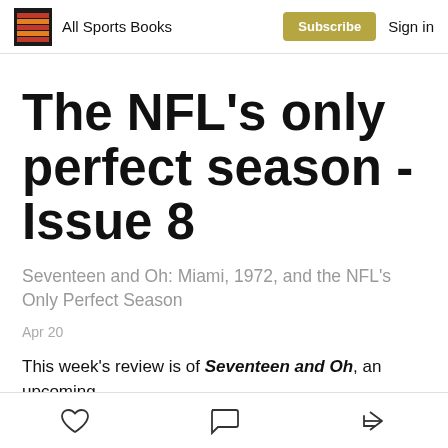All Sports Books | Subscribe | Sign in
The NFL's only perfect season - Issue 8
Seventeen and Oh: Miami, 1972, and the NFL's Only Perfect Season
Apr 20
This week's review is of Seventeen and Oh, an upcoming
like | comment | share